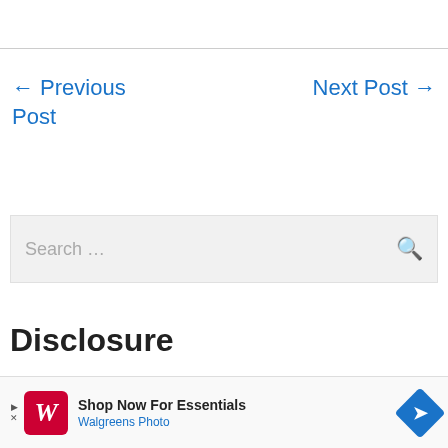← Previous Post
Next Post →
Search ...
Disclosure
As an Amazon Associate we earn from
Shop Now For Essentials Walgreens Photo